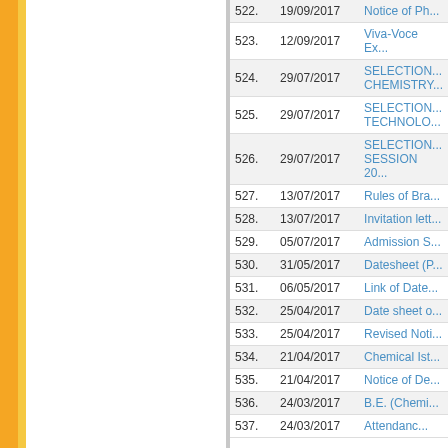| No. | Date | Title |
| --- | --- | --- |
| 522. | 19/09/2017 | Notice of Ph... |
| 523. | 12/09/2017 | Viva-Voce Ex... |
| 524. | 29/07/2017 | SELECTION... CHEMISTRY... |
| 525. | 29/07/2017 | SELECTION... TECHNOLO... |
| 526. | 29/07/2017 | SELECTION... SESSION 20... |
| 527. | 13/07/2017 | Rules of Bra... |
| 528. | 13/07/2017 | Invitation lett... |
| 529. | 05/07/2017 | Admission S... |
| 530. | 31/05/2017 | Datesheet (P... |
| 531. | 06/05/2017 | Link of Date... |
| 532. | 25/04/2017 | Date sheet o... |
| 533. | 25/04/2017 | Revised Noti... |
| 534. | 21/04/2017 | Chemical Ist... |
| 535. | 21/04/2017 | Notice of De... |
| 536. | 24/03/2017 | B.E. (Chemi... |
| 537. | 24/03/2017 | Attendanc... |